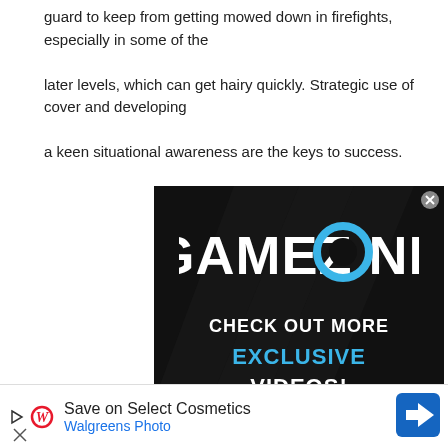guard to keep from getting mowed down in firefights, especially in some of the later levels, which can get hairy quickly. Strategic use of cover and developing a keen situational awareness are the keys to success.
[Figure (other): GameZone advertisement banner with dark background showing 'GAMEZONE' logo with blue circle O, and text 'CHECK OUT MORE EXCLUSIVE VIDEOS!']
[Figure (other): Walgreens advertisement banner: 'Save on Select Cosmetics - Walgreens Photo' with Walgreens cursive W logo and navigation arrow icon]